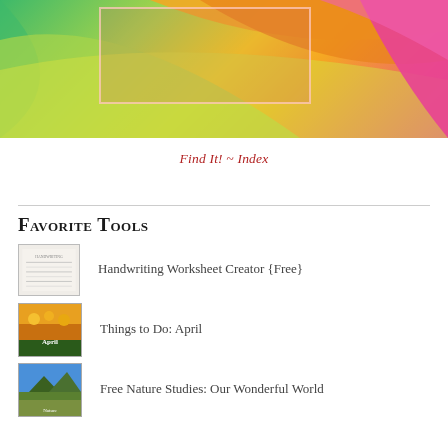[Figure (photo): Colorful curving paper sheets in green, yellow, orange, and pink/magenta with a semi-transparent pinkish overlay box]
Find It! ~ Index
Favorite Tools
[Figure (photo): Thumbnail image of a handwriting worksheet with lined paper and text]
Handwriting Worksheet Creator {Free}
[Figure (photo): Thumbnail image of orange flowers with text overlay for April]
Things to Do: April
[Figure (photo): Thumbnail image of a nature scene with blue sky and green landscape]
Free Nature Studies: Our Wonderful World